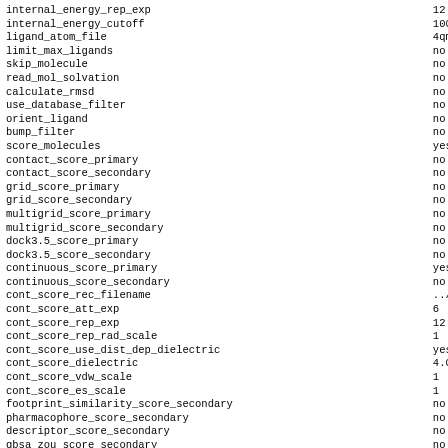| parameter | value |
| --- | --- |
| internal_energy_rep_exp | 12 |
| internal_energy_cutoff | 100.0 |
| ligand_atom_file | 4qmz.vi |
| limit_max_ligands | no |
| skip_molecule | no |
| read_mol_solvation | no |
| calculate_rmsd | no |
| use_database_filter | no |
| orient_ligand | no |
| bump_filter | no |
| score_molecules | yes |
| contact_score_primary | no |
| contact_score_secondary | no |
| grid_score_primary | no |
| grid_score_secondary | no |
| multigrid_score_primary | no |
| multigrid_score_secondary | no |
| dock3.5_score_primary | no |
| dock3.5_score_secondary | no |
| continuous_score_primary | yes |
| continuous_score_secondary | no |
| cont_score_rec_filename | ../01.c |
| cont_score_att_exp | 6 |
| cont_score_rep_exp | 12 |
| cont_score_rep_rad_scale | 1 |
| cont_score_use_dist_dep_dielectric | yes |
| cont_score_dielectric | 4.0 |
| cont_score_vdw_scale | 1 |
| cont_score_es_scale | 1 |
| footprint_similarity_score_secondary | no |
| pharmacophore_score_secondary | no |
| descriptor_score_secondary | no |
| gbsa_zou_score_secondary | no |
| gbsa_hawkins_score_secondary | no |
| SASA_score_secondary | no |
| amber_score_secondary | no |
| minimize_ligand | yes |
| simplex_max_iterations | 1000 |